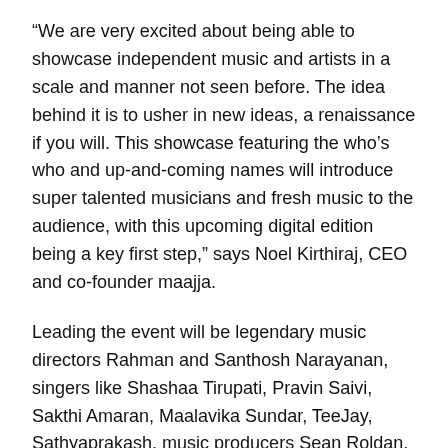“We are very excited about being able to showcase independent music and artists in a scale and manner not seen before. The idea behind it is to usher in new ideas, a renaissance if you will. This showcase featuring the who’s who and up-and-coming names will introduce super talented musicians and fresh music to the audience, with this upcoming digital edition being a key first step,” says Noel Kirthiraj, CEO and co-founder maajja.
Leading the event will be legendary music directors Rahman and Santhosh Narayanan, singers like Shashaa Tirupati, Pravin Saivi, Sakthi Amaran, Maalavika Sundar, TeeJay, Sathyaprakash, music producers Sean Roldan, Leon James, Tenma, artists Keba Jeremiah, Mugen Rao, Siennor, Aalap Raju, The Casteless Collective and, bands like Oorka and Staccato from Chennai.